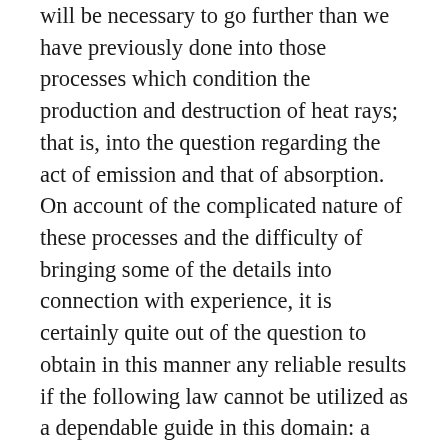will be necessary to go further than we have previously done into those processes which condition the production and destruction of heat rays; that is, into the question regarding the act of emission and that of absorption. On account of the complicated nature of these processes and the difficulty of bringing some of the details into connection with experience, it is certainly quite out of the question to obtain in this manner any reliable results if the following law cannot be utilized as a dependable guide in this domain: a vacuum surrounded by reflecting walls in which arbitrary emitting and absorbing bodies are distributed in any given arrangement assumes in the course of time the stationary state of black radiation, which is completely determined by a single parameter, the temperature, and which, in particular, does not depend upon the number, the properties and the arrangement of the bodies. In the investigation of the properties of the state of black radiation the nature of the bodies which are supposed to